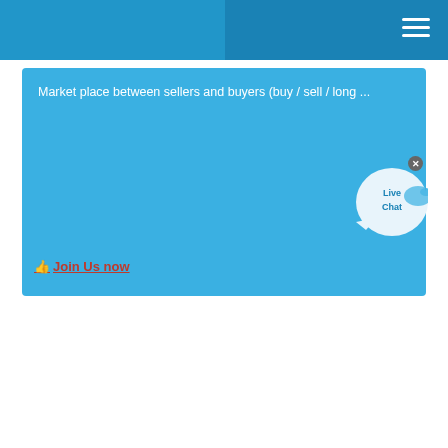[Figure (screenshot): Website header with two-tone blue background and hamburger menu icon in top right corner]
Market place between sellers and buyers (buy / sell / long ...
Join Us now
[Figure (illustration): Live Chat bubble widget with X close button in top right corner]